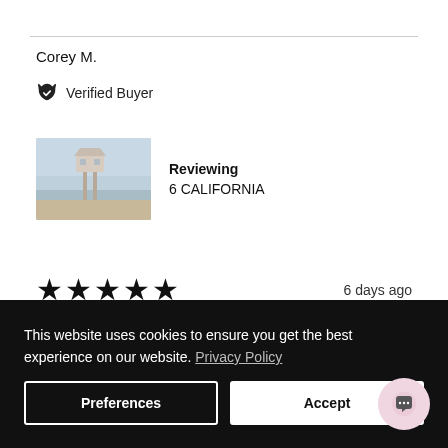Corey M.
Verified Buyer
Reviewing
6 CALIFORNIA
[Figure (photo): Product thumbnail showing a beach lifeguard tower scene in muted/desaturated tones]
★★★★★  6 days ago
6 CALIFORNIA
The order was shipped promptly and arrived in great condition. We love it!
This website uses cookies to ensure you get the best experience on our website. Privacy Policy
Preferences
Accept